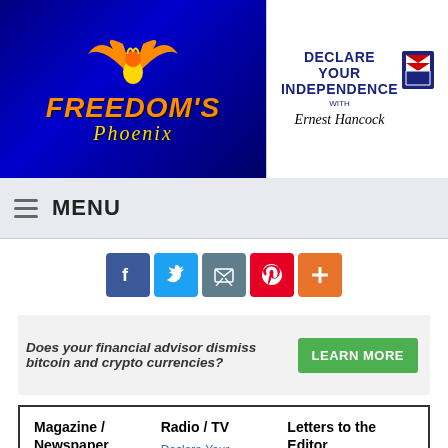[Figure (logo): Freedom's Phoenix logo with golden phoenix bird on dark blue background with orange and gold text]
[Figure (logo): Declare Your Independence with Ernest Hancock logo in blue and white]
≡ MENU
[Figure (infographic): Social sharing buttons: Facebook, Twitter, Email, Pinterest, and Plus]
Does your financial advisor dismiss bitcoin and crypto currencies? LEARN MORE
Magazine / Newspaper
Radio / TV
Letters to the Editor
Magazine
Subscription Info
Declare Your Independence with Ernest
List of Letters
Write a Letter